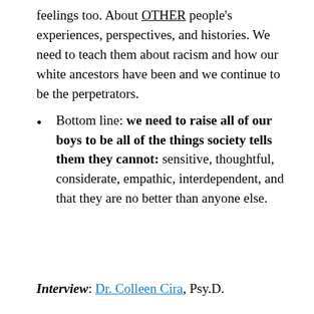feelings too. About OTHER people's experiences, perspectives, and histories. We need to teach them about racism and how our white ancestors have been and we continue to be the perpetrators.
Bottom line: we need to raise all of our boys to be all of the things society tells them they cannot: sensitive, thoughtful, considerate, empathic, interdependent, and that they are no better than anyone else.
Interview: Dr. Colleen Cira, Psy.D.